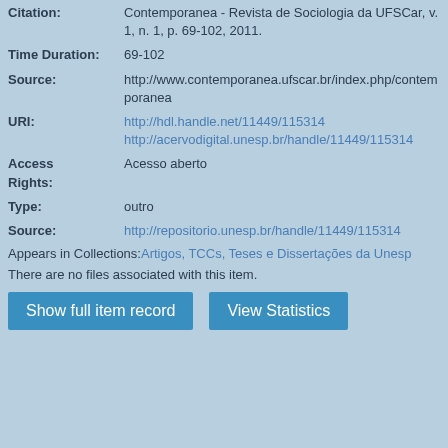Citation: Contemporanea - Revista de Sociologia da UFSCar, v. 1, n. 1, p. 69-102, 2011.
Time Duration: 69-102
Source: http://www.contemporanea.ufscar.br/index.php/contemporanea
URI: http://hdl.handle.net/11449/115314
http://acervodigital.unesp.br/handle/11449/115314
Access Rights: Acesso aberto
Type: outro
Source: http://repositorio.unesp.br/handle/11449/115314
Appears in Collections: Artigos, TCCs, Teses e Dissertações da Unesp
There are no files associated with this item.